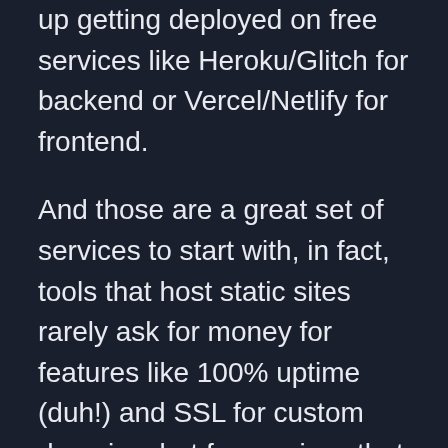up getting deployed on free services like Heroku/Glitch for backend or Vercel/Netlify for frontend.
And those are a great set of services to start with, in fact, tools that host static sites rarely ask for money for features like 100% uptime (duh!) and SSL for custom domains, but for services that hosts your servers for you, sooner or later will find a way to ask for money.
Context switching closer to the post title, recently one of my Node Servers which was hosted on Heroku (surviving on GitHub Student Pack Credits ♥ on Hobby Plan) lost the ability to